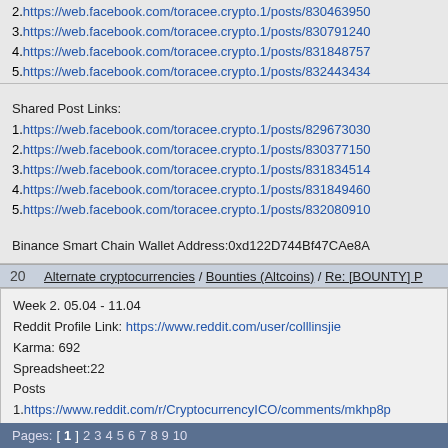2. https://web.facebook.com/toracee.crypto.1/posts/830463950...
3. https://web.facebook.com/toracee.crypto.1/posts/830791240...
4. https://web.facebook.com/toracee.crypto.1/posts/831848757...
5. https://web.facebook.com/toracee.crypto.1/posts/832443434...
Shared Post Links:
1. https://web.facebook.com/toracee.crypto.1/posts/829673030...
2. https://web.facebook.com/toracee.crypto.1/posts/830377150...
3. https://web.facebook.com/toracee.crypto.1/posts/831834514...
4. https://web.facebook.com/toracee.crypto.1/posts/831849460...
5. https://web.facebook.com/toracee.crypto.1/posts/832080910...
Binance Smart Chain Wallet Address:0xd122D744Bf47CAe8A...
20   Alternate cryptocurrencies / Bounties (Altcoins) / Re: [BOUNTY] P...
Week 2. 05.04 - 11.04
Reddit Profile Link: https://www.reddit.com/user/colllinsjie
Karma: 692
Spreadsheet:22
Posts
1. https://www.reddit.com/r/CryptocurrencyICO/comments/mkhp8p...
2.
3.
4.
Pages: [1] 2 3 4 5 6 7 8 9 10